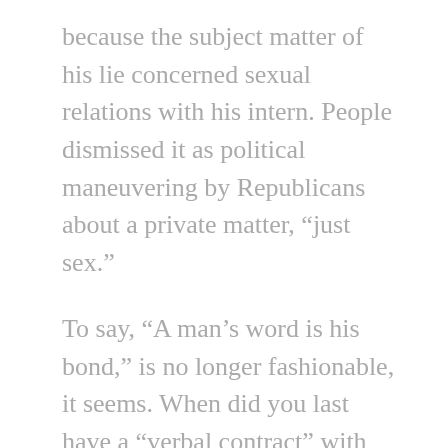because the subject matter of his lie concerned sexual relations with his intern. People dismissed it as political maneuvering by Republicans about a private matter, “just sex.”
To say, “A man’s word is his bond,” is no longer fashionable, it seems. When did you last have a “verbal contract” with someone? So, it would not surprise me that people would ignore the affidavits of hundreds of people. We are so accustomed to people lying for political expediency that we believe people would